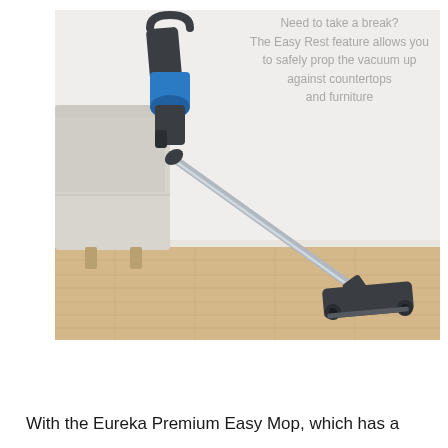[Figure (photo): A cordless stick vacuum cleaner propped diagonally against a white wall next to a light gray sofa, with its cleaning head resting on a light wood floor. The vacuum is gray with blue accents.]
Need to take a break? The Easy Rest feature allows you to safely prop the vacuum up against countertops and furniture
With the Eureka Premium Easy Mop, which has a